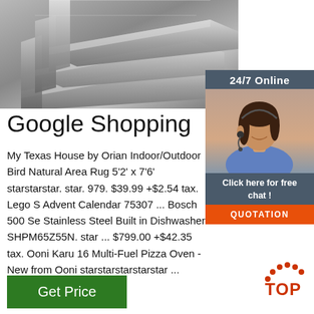[Figure (photo): Close-up photo of stainless steel angle bars/L-shaped metal profiles stacked together, metallic gray tones]
[Figure (infographic): Sidebar widget with '24/7 Online' header, photo of female customer service agent with headset, 'Click here for free chat!' text, and orange QUOTATION button]
Google Shopping
My Texas House by Orian Indoor/Outdoor Bird Natural Area Rug 5'2' x 7'6' starstarstar. star. 979. $39.99 +$2.54 tax. Lego S Advent Calendar 75307 ... Bosch 500 Se Stainless Steel Built in Dishwasher-SHPM65Z55N. star ... $799.00 +$42.35 tax. Ooni Karu 16 Multi-Fuel Pizza Oven - New from Ooni starstarstarstarstar ...
[Figure (logo): TOP badge with red/orange dots arc above and 'TOP' text in red]
Get Price